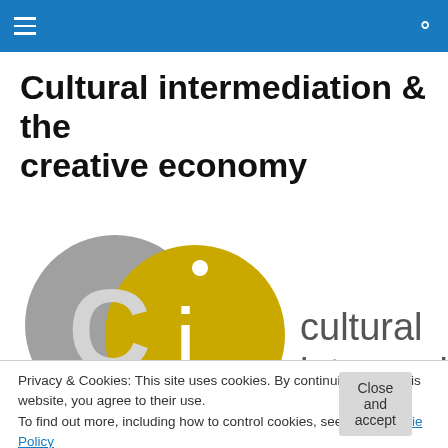Cultural intermediation & the creative economy – navigation bar
Cultural intermediation & the creative economy
[Figure (logo): Cultural intermediation logo: overlapping grey circle with C and gold/yellow circle with i, with text 'cultural intermediation' to the right]
Privacy & Cookies: This site uses cookies. By continuing to use this website, you agree to their use.
To find out more, including how to control cookies, see here: Cookie Policy
Close and accept